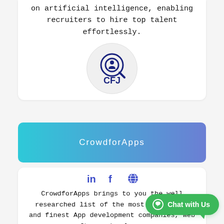on artificial intelligence, enabling recruiters to hire top talent effortlessly.
[Figure (logo): CFJ logo — circular emblem with magnifying glass icon and 'CFJ' text in dark navy blue, inside a light grey circle]
CrowdforApps
[Figure (logo): Social media icons: LinkedIn 'in', Facebook 'f', and a globe icon in dark blue/indigo]
CrowdforApps brings to you the well researched list of the most successful and finest App development companies, Web software developers.
[Figure (logo): CFA logo — dark navy circle with italic serif 'CFA' text in white]
Chat with Us